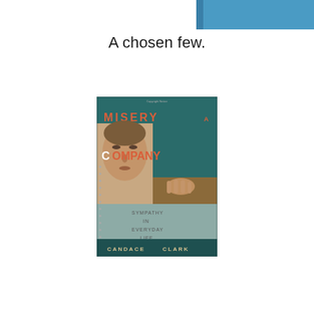[Figure (illustration): Top banner image: a rectangular image showing a blue sky or abstract blue gradient banner at the top of the page, partially cropped.]
A chosen few.
[Figure (photo): Book cover of 'Misery and Company: Sympathy in Everyday Life' by Candace Clark. Teal/dark green background with orange and white stylized text. Shows a close-up face (Renaissance painting style) on left half and a hand on right half. Subtitle reads 'Sympathy in Everyday Life'. Author name 'Candace Clark' at bottom.]